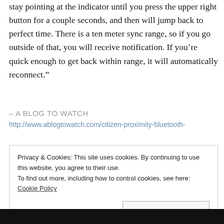stay pointing at the indicator until you press the upper right button for a couple seconds, and then will jump back to perfect time.  There is a ten meter sync range, so if you go outside of that, you will receive notification.  If you’re quick enough to get back within range, it will automatically reconnect.”
– A BLOG TO WATCH
http://www.ablogtowatch.com/citizen-proximity-bluetooth-
Privacy & Cookies: This site uses cookies. By continuing to use this website, you agree to their use.
To find out more, including how to control cookies, see here: Cookie Policy
Close and accept